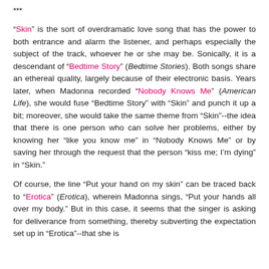***
“Skin” is the sort of overdramatic love song that has the power to both entrance and alarm the listener, and perhaps especially the subject of the track, whoever he or she may be. Sonically, it is a descendant of “Bedtime Story” (Bedtime Stories). Both songs share an ethereal quality, largely because of their electronic basis. Years later, when Madonna recorded “Nobody Knows Me” (American Life), she would fuse “Bedtime Story” with “Skin” and punch it up a bit; moreover, she would take the same theme from “Skin”--the idea that there is one person who can solve her problems, either by knowing her “like you know me” in “Nobody Knows Me” or by saving her through the request that the person “kiss me; I’m dying” in “Skin.”
Of course, the line “Put your hand on my skin” can be traced back to “Erotica” (Erotica), wherein Madonna sings, “Put your hands all over my body.” But in this case, it seems that the singer is asking for deliverance from something, thereby subverting the expectation set up in “Erotica”--that she is